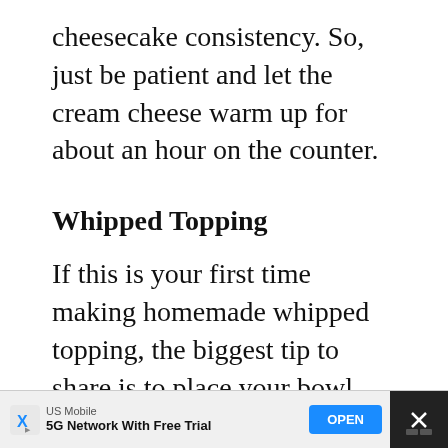cheesecake consistency. So, just be patient and let the cream cheese warm up for about an hour on the counter.
Whipped Topping
If this is your first time making homemade whipped topping, the biggest tip to share is to place your bowl and beaters/whisk into the freezer for about 10 minutes before creating the whipped topping. Beat the heavy cream, confectioners sugar and vanilla extract to a
[Figure (infographic): Advertisement banner at the bottom. Shows 'US Mobile' brand with text '5G Network With Free Trial', a blue 'OPEN' button, an X logo on the left, and a dark close region on the right.]